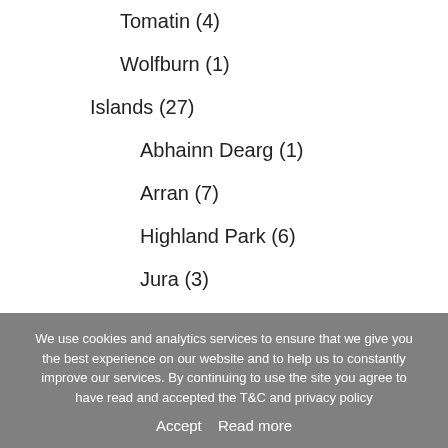Tomatin (4)
Wolfburn (1)
Islands (27)
Abhainn Dearg (1)
Arran (7)
Highland Park (6)
Jura (3)
Scapa (1)
We use cookies and analytics services to ensure that we give you the best experience on our website and to help us to constantly improve our services. By continuing to use the site you agree to have read and accepted the T&C and privacy policy
Accept   Read more